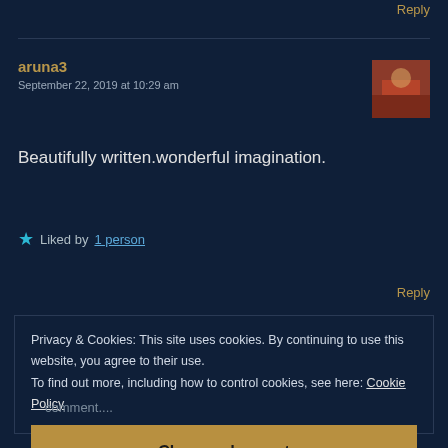Reply
aruna3
September 22, 2019 at 10:29 am
Beautifully written.wonderful imagination.
★ Liked by 1 person
Reply
Privacy & Cookies: This site uses cookies. By continuing to use this website, you agree to their use.
To find out more, including how to control cookies, see here: Cookie Policy
Close and accept
comment....